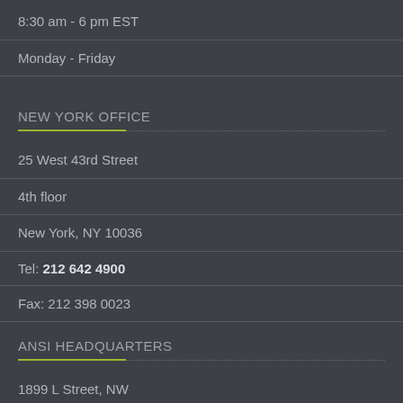8:30 am - 6 pm EST
Monday - Friday
NEW YORK OFFICE
25 West 43rd Street
4th floor
New York, NY 10036
Tel: 212 642 4900
Fax: 212 398 0023
ANSI HEADQUARTERS
1899 L Street, NW
11th floor